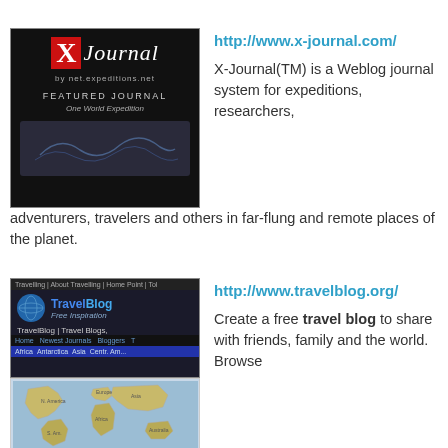[Figure (screenshot): X-Journal website thumbnail showing dark background with X-Journal logo and featured journal text]
http://www.x-journal.com/
X-Journal(TM) is a Weblog journal system for expeditions, researchers, adventurers, travelers and others in far-flung and remote places of the planet.
[Figure (screenshot): TravelBlog website thumbnail showing navigation bar and TravelBlog logo with globe icon]
http://www.travelblog.org/
Create a free travel blog to share with friends, family and the world. Browse millions of travel blogs, travel photos and travel destinations.